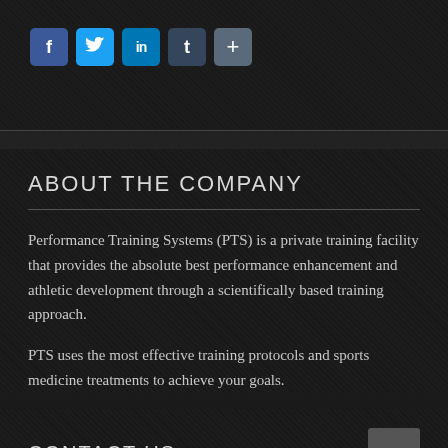[Figure (infographic): Social media sharing icons: Facebook (f), Twitter (bird), LinkedIn (in), Tumblr (t), and a plus (+) button, displayed as colored rounded square buttons on a dark background]
ABOUT THE COMPANY
Performance Training Systems (PTS) is a private training facility that provides the absolute best performance enhancement and athletic development through a scientifically based training approach.
PTS uses the most effective training protocols and sports medicine treatments to achieve your goals.
CONTACT US